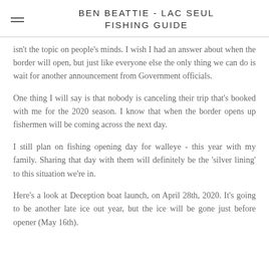BEN BEATTIE - LAC SEUL FISHING GUIDE
isn't the topic on people's minds. I wish I had an answer about when the border will open, but just like everyone else the only thing we can do is wait for another announcement from Government officials.
One thing I will say is that nobody is canceling their trip that's booked with me for the 2020 season. I know that when the border opens up fishermen will be coming across the next day.
I still plan on fishing opening day for walleye - this year with my family. Sharing that day with them will definitely be the 'silver lining' to this situation we're in.
Here's a look at Deception boat launch, on April 28th, 2020. It's going to be another late ice out year, but the ice will be gone just before opener (May 16th).